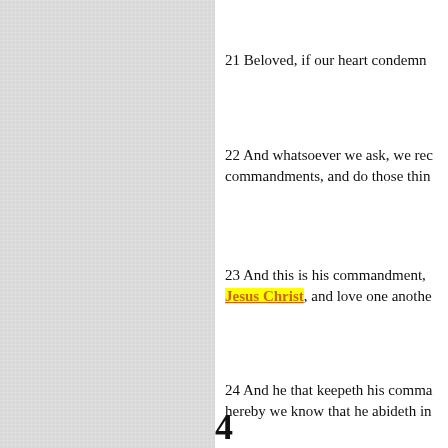21 Beloved, if our heart condemn
22 And whatsoever we ask, we rec commandments, and do those thin
23 And this is his commandment, Jesus Christ, and love one anothe
24 And he that keepeth his comma hereby we know that he abideth in